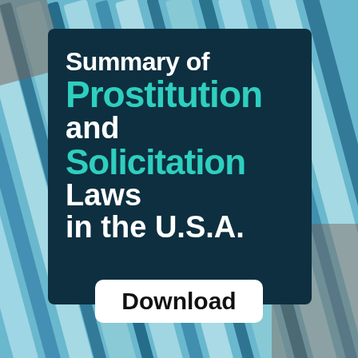[Figure (illustration): Cover page graphic with a blue diagonal abstract background (overlapping vertical blue panels/blinds) and a dark teal/navy dark box in the center containing the document title text.]
Summary of Prostitution and Solicitation Laws in the U.S.A.
Download